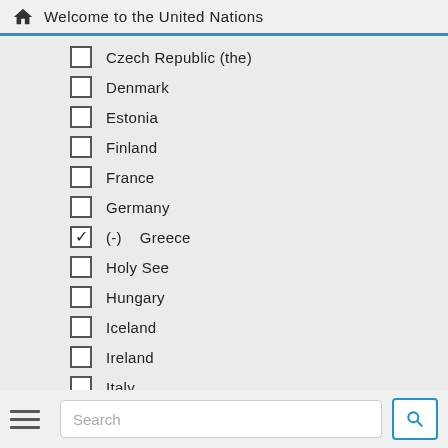Welcome to the United Nations
Czech Republic (the)
Denmark
Estonia
Finland
France
Germany
(-) Greece (checked)
Holy See
Hungary
Iceland
Ireland
Italy
Latvia
Liechtenstein
Lithuania
Luxembourg